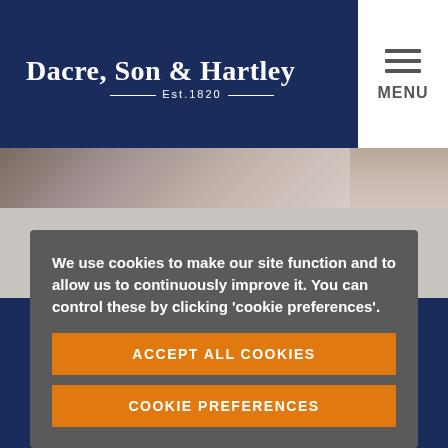[Figure (logo): Dacre, Son & Hartley real estate logo with text 'Est.1820' on navy background]
[Figure (photo): Partial photo strip showing a person, partially visible at top]
We use cookies to make our site function and to allow us to continuously improve it. You can control these by clicking 'cookie preferences'.
ACCEPT ALL COOKIES
COOKIE PREFERENCES